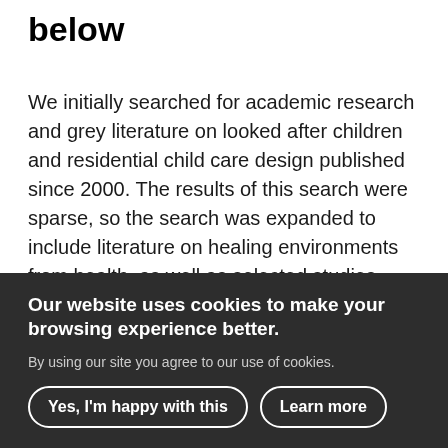below
We initially searched for academic research and grey literature on looked after children and residential child care design published since 2000. The results of this search were sparse, so the search was expanded to include literature on healing environments from health, as well as selected studies looking at green space and blue space. While there has been a recent increase in evidence around housing for older people, these results were not included in this Scot...
Our website uses cookies to make your browsing experience better.
By using our site you agree to our use of cookies.
Yes, I'm happy with this
Learn more